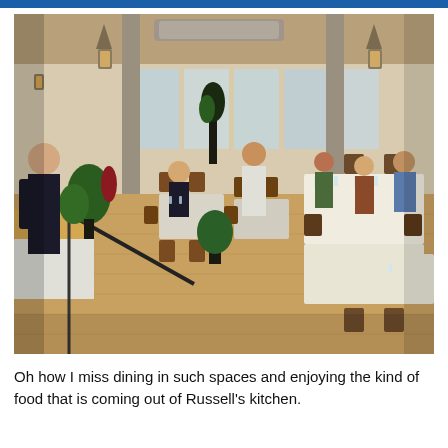[Figure (photo): Interior of a restaurant dining room with wooden floors, white tablecloth-covered tables, wooden chairs, large windows overlooking water, decorative plants, pendant lantern-style light fixtures, and diners seated at tables being served by waitstaff. A woman stands near a railing in the foreground left.]
Oh how I miss dining in such spaces and enjoying the kind of food that is coming out of Russell's kitchen.